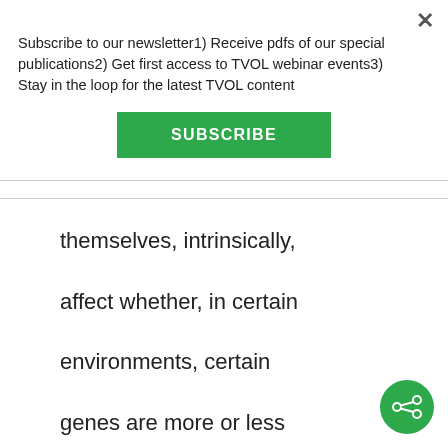Subscribe to our newsletter1) Receive pdfs of our special publications2) Get first access to TVOL webinar events3) Stay in the loop for the latest TVOL content
SUBSCRIBE
themselves, intrinsically, affect whether, in certain environments, certain genes are more or less likely than other genes to spread in a population.. ..the casting vote is the very presence and stability of